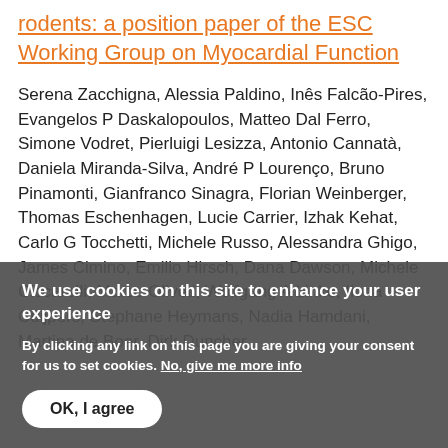rodents: a position paper of the ESC Working Group on Myocardial Function
Serena Zacchigna, Alessia Paldino, Inês Falcão-Pires, Evangelos P Daskalopoulos, Matteo Dal Ferro, Simone Vodret, Pierluigi Lesizza, Antonio Cannatà, Daniela Miranda-Silva, André P Lourenço, Bruno Pinamonti, Gianfranco Sinagra, Florian Weinberger, Thomas Eschenhagen, Lucie Carrier, Izhak Kehat, Carlo G Tocchetti, Michele Russo, Alessandra Ghigo, James Cimino, Emilio Hirsch, Dana Dawson, Michele Ciccarelli, Marco Oliveti, Wolfgang A Linke, Ilona Cuijpers, Stephane Heymans, Nadia Hamdani, Martina de Boer, Dirk Duncker
We use cookies on this site to enhance your user experience
By clicking any link on this page you are giving your consent for us to set cookies. No, give me more info
OK, I agree